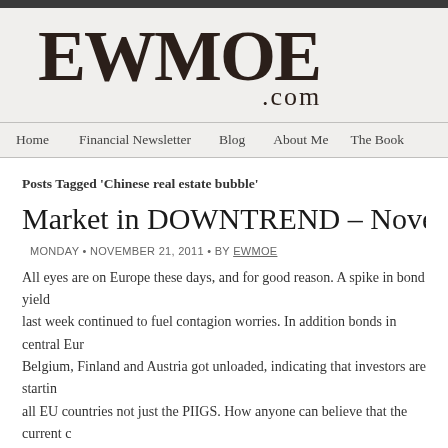EWMOE .com
Home | Financial Newsletter | Blog | About Me | The Book
Posts Tagged 'Chinese real estate bubble'
Market in DOWNTREND – November
MONDAY • NOVEMBER 21, 2011 • BY EWMOE
All eyes are on Europe these days, and for good reason. A spike in bond yields last week continued to fuel contagion worries. In addition bonds in central Europe, Belgium, Finland and Austria got unloaded, indicating that investors are starting to worry about all EU countries not just the PIIGS. How anyone can believe that the current can be sustained continues to amaze me. Market action since early August shows investors are getting increasingly uncertain about the sustainability of our current financial a...